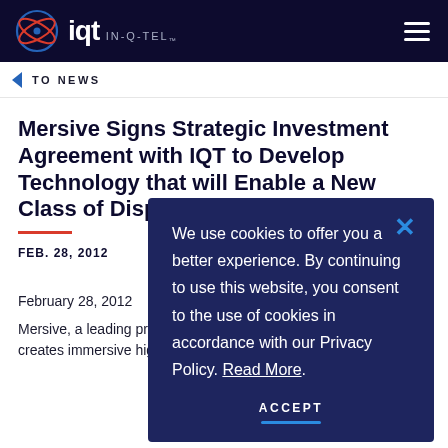IQT IN-Q-TEL
TO NEWS
Mersive Signs Strategic Investment Agreement with IQT to Develop Technology that will Enable a New Class of Displays
FEB. 28, 2012
SHARE
February 28, 2012
Mersive, a leading provider of visual computing software that creates immersive high performance displays, today ann...
We use cookies to offer you a better experience. By continuing to use this website, you consent to the use of cookies in accordance with our Privacy Policy. Read More.
ACCEPT